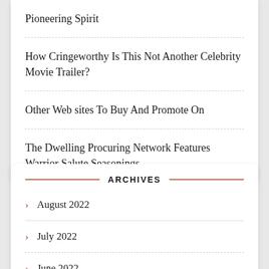Pioneering Spirit
How Cringeworthy Is This Not Another Celebrity Movie Trailer?
Other Web sites To Buy And Promote On
The Dwelling Procuring Network Features Warrior Salute Seasonings
ARCHIVES
August 2022
July 2022
June 2022